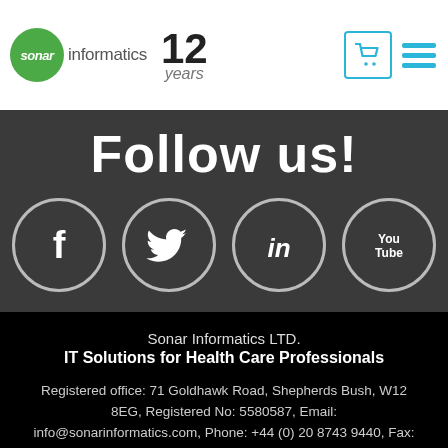[Figure (logo): Sonar Informatics logo with green circle, text 'sonar informatics', '12 years' text, shopping cart icon and hamburger menu icon in teal]
Follow us!
[Figure (infographic): Four social media icons in circular outlines: Facebook (f), Twitter (bird), LinkedIn (in), YouTube (You Tube)]
Sonar Informatics LTD.
IT Solutions for Health Care Professionals
Registered office: 71 Goldhawk Road, Shepherds Bush, W12 8EG, Registered No: 5580587, Email: info@sonarinformatics.com, Phone: +44 (0) 20 8743 9440, Fax: +44 (0) 20 8746 0773
Copyright © 2022. All rights reserved.